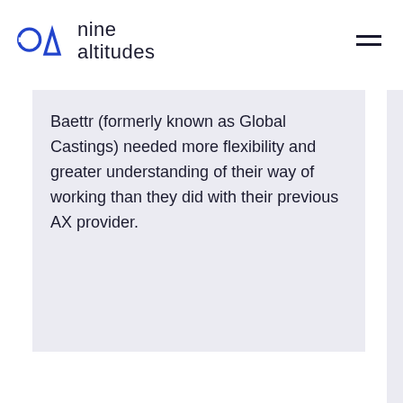nine altitudes
Baettr (formerly known as Global Castings) needed more flexibility and greater understanding of their way of working than they did with their previous AX provider.
Created in French m designs, p distribute professio market. L the integr Microsoft